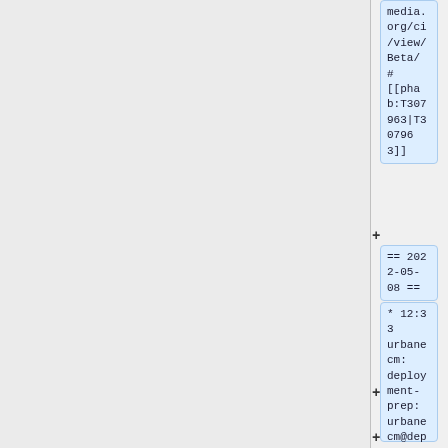media.org/ci
/view/Beta/
#
[[phab:T307963|T307963]]
+
== 2022-05-08 ==
+
* 12:33 urbanecm: deployment-prep: urbanecm@deployment-mwmaint02:~$

foreachwikiindblist growthexperiments
+